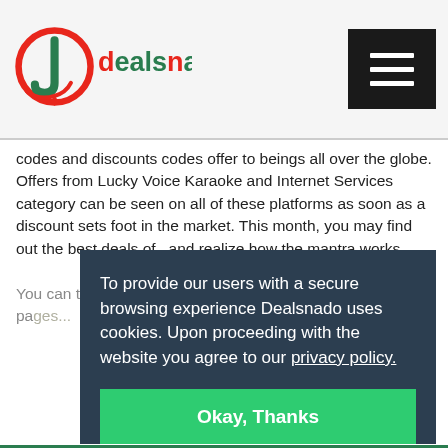Dealsnado
codes and discounts codes offer to beings all over the globe. Offers from Lucky Voice Karaoke and Internet Services category can be seen on all of these platforms as soon as a discount sets foot in the market. This month, you may find out the best deals of , and realize how the mantra works.
You can take a chance and reach out for Dealsnado on its pages (facebook, twitter, Instagram).
Fo...s P...ro...
Everyday, Dealsnado collects merriments and celebration from Lucky Voice Karaoke on their site. As you will gradually find their services more and more of
To provide our users with a secure browsing experience Dealsnado uses cookies. Upon proceeding with the website you agree to our privacy policy.
Okay, Thanks